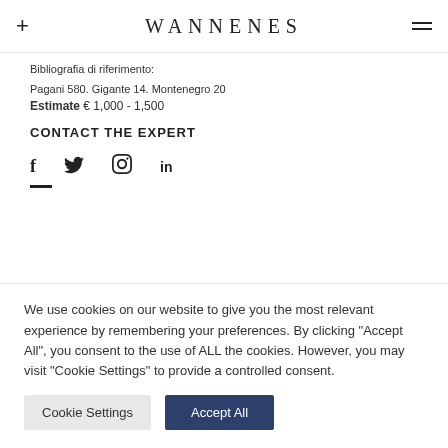+ WANNENES ≡
Bibliografia di riferimento:
Pagani 580. Gigante 14. Montenegro 20
Estimate € 1,000 - 1,500
CONTACT THE EXPERT
[Figure (other): Social media icons: Facebook (f), Twitter (bird), Pinterest (P), LinkedIn (in), with underline bar below]
We use cookies on our website to give you the most relevant experience by remembering your preferences. By clicking "Accept All", you consent to the use of ALL the cookies. However, you may visit "Cookie Settings" to provide a controlled consent.